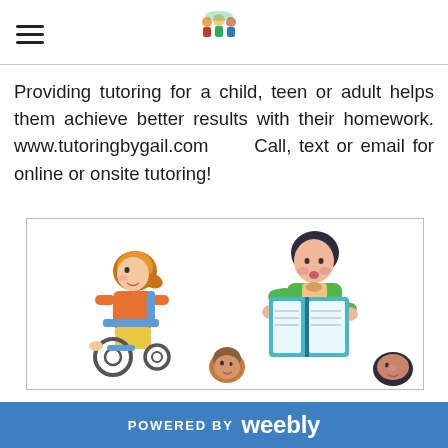≡ [logo]
Providing tutoring for a child, teen or adult helps them achieve better results with their homework. www.tutoringbygail.com      Call, text or email for online or onsite tutoring!
[Figure (illustration): Cartoon illustration of a teacher reading a book aloud to children, including a child in a wheelchair]
POWERED BY weebly